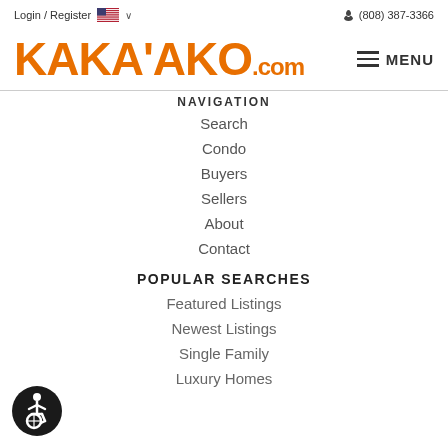Login / Register  🇺🇸 ∨    ☎ (808) 387-3366
KAKA'AKO.com
NAVIGATION
Search
Condo
Buyers
Sellers
About
Contact
POPULAR SEARCHES
Featured Listings
Newest Listings
Single Family
Luxury Homes
[Figure (illustration): Accessibility icon - black circle with white wheelchair user symbol]